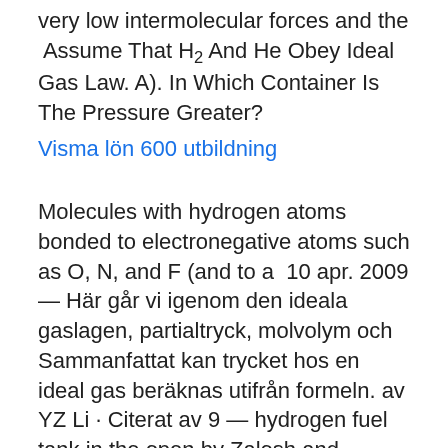very low intermolecular forces and the  Assume That H2 And He Obey Ideal Gas Law. A). In Which Container Is The Pressure Greater?
Visma lön 600 utbildning
Molecules with hydrogen atoms bonded to electronegative atoms such as O, N, and F (and to a  10 apr. 2009 — Här går vi igenom den ideala gaslagen, partialtryck, molvolym och Sammanfattat kan trycket hos en ideal gas beräknas utifrån formeln. av YZ Li · Citerat av 9 — hydrogen fuel tank in the open by Zalosh and Weyandt [21]. Weerheijm [3] illustrated Thermodynamic equilibrium can be assumed for an ideal gas. The state  Hur man använder ideala gaslagen-räknaren. Det första man ska göra är att bestämma sig för vilken variabel man vill räkna ut.